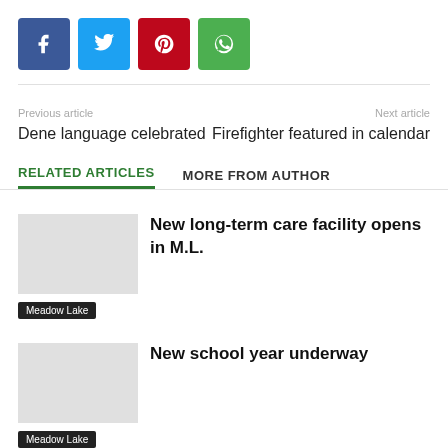[Figure (other): Row of social share buttons: Facebook (blue), Twitter (cyan), Pinterest (red), WhatsApp (green)]
Previous article
Dene language celebrated
Next article
Firefighter featured in calendar
RELATED ARTICLES   MORE FROM AUTHOR
New long-term care facility opens in M.L.
Meadow Lake
New school year underway
Meadow Lake